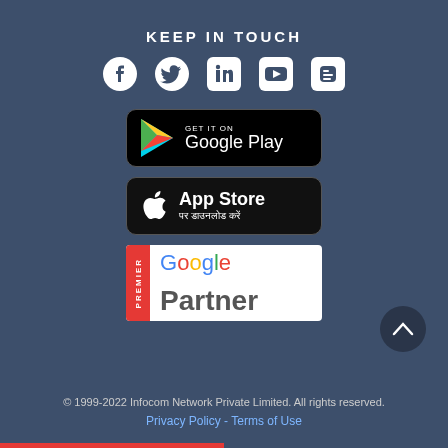KEEP IN TOUCH
[Figure (illustration): Social media icons: Facebook, Twitter, LinkedIn, YouTube, Blogger]
[Figure (illustration): GET IT ON Google Play badge]
[Figure (illustration): App Store download badge in Hindi: App Store पर डाउनलोड करें]
[Figure (logo): Google Premier Partner badge]
© 1999-2022 Infocom Network Private Limited. All rights reserved.
Privacy Policy - Terms of Use